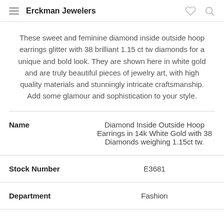Erckman Jewelers
These sweet and feminine diamond inside outside hoop earrings glitter with 38 brilliant 1.15 ct tw diamonds for a unique and bold look. They are shown here in white gold and are truly beautiful pieces of jewelry art, with high quality materials and stunningly intricate craftsmanship. Add some glamour and sophistication to your style.
| Name |  |
| --- | --- |
| Name | Diamond Inside Outside Hoop Earrings in 14k White Gold with 38 Diamonds weighing 1.15ct tw. |
| Stock Number | E3681 |
| Department | Fashion |